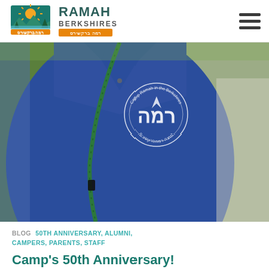[Figure (logo): Ramah Berkshires logo with sunrise, trees, hills, and Hebrew text רמה ברקשירס]
[Figure (photo): Close-up of a person wearing a blue Camp Ramah in the Berkshires polo shirt with embroidered logo and a green lanyard]
BLOG  50TH ANNIVERSARY, ALUMNI, CAMPERS, PARENTS, STAFF
Camp's 50th Anniversary!